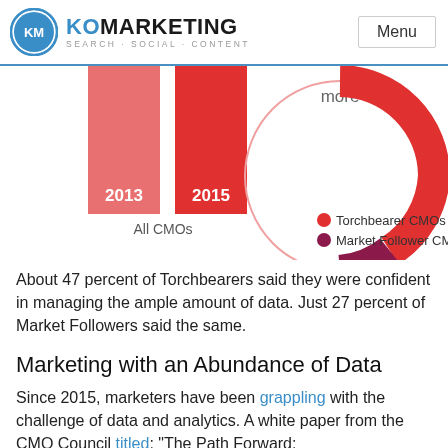KO MARKETING SEARCH·SOCIAL·CONTENT | Menu
[Figure (infographic): Partial bar chart showing 2013 and 2015 bars for All CMOs, and a partial donut/arc chart for Torchbearer CMOs vs Market Follower CMOs with legend showing Torchbearer CMOs (red) and Market Follower CMOs (dark red/purple). Text 'more' appears above the arc.]
About 47 percent of Torchbearers said they were confident in managing the ample amount of data. Just 27 percent of Market Followers said the same.
Marketing with an Abundance of Data
Since 2015, marketers have been grappling with the challenge of data and analytics. A white paper from the CMO Council titled: "The Path Forward: